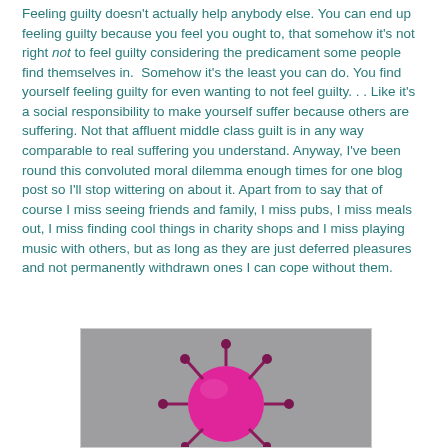Feeling guilty doesn't actually help anybody else. You can end up feeling guilty because you feel you ought to, that somehow it's not right not to feel guilty considering the predicament some people find themselves in. Somehow it's the least you can do. You find yourself feeling guilty for even wanting to not feel guilty. . . Like it's a social responsibility to make yourself suffer because others are suffering. Not that affluent middle class guilt is in any way comparable to real suffering you understand. Anyway, I've been round this convoluted moral dilemma enough times for one blog post so I'll stop wittering on about it. Apart from to say that of course I miss seeing friends and family, I miss pubs, I miss meals out, I miss finding cool things in charity shops and I miss playing music with others, but as long as they are just deferred pleasures and not permanently withdrawn ones I can cope without them.
[Figure (photo): A pink/magenta spiky ball resembling a coronavirus or toy figure, photographed against a grey background. The object has multiple spike protrusions with small round tips.]